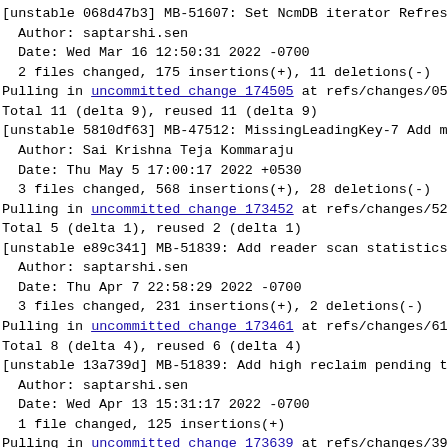[unstable 068d47b3] MB-51607: Set NcmDB iterator Refresh
 Author: saptarshi.sen
 Date: Wed Mar 16 12:50:31 2022 -0700
 2 files changed, 175 insertions(+), 11 deletions(-)
Pulling in uncommitted change 174505 at refs/changes/05/1
Total 11 (delta 9), reused 11 (delta 9)
[unstable 5810df63] MB-47512: MissingLeadingKey-7 Add mo
 Author: Sai Krishna Teja Kommaraju
 Date: Thu May 5 17:00:17 2022 +0530
 3 files changed, 568 insertions(+), 28 deletions(-)
Pulling in uncommitted change 173452 at refs/changes/52/1
Total 5 (delta 1), reused 2 (delta 1)
[unstable e89c341] MB-51839: Add reader scan statistics
 Author: saptarshi.sen
 Date: Thu Apr 7 22:58:29 2022 -0700
 3 files changed, 231 insertions(+), 2 deletions(-)
Pulling in uncommitted change 173461 at refs/changes/61/1
Total 8 (delta 4), reused 6 (delta 4)
[unstable 13a739d] MB-51839: Add high reclaim pending te
 Author: saptarshi.sen
 Date: Wed Apr 13 15:31:17 2022 -0700
 1 file changed, 125 insertions(+)
Pulling in uncommitted change 173639 at refs/changes/39/1
Total 15 (delta 10), reused 13 (delta 10)
[unstable f76d6db] MB-51839: Add MVCC Iterator refresh fo
 Author: saptarshi.sen
 Date: Tue Apr 12 19:01:41 2022 -0700
 5 files changed, 711 insertions(+), 18 deletions(-)
Pulling in uncommitted change 174179 at refs/changes/79/1
Total 10 (delta 6), reused 8 (delta 6)
[unstable c65912d] MB-51993: Add trimming for LSS flush b